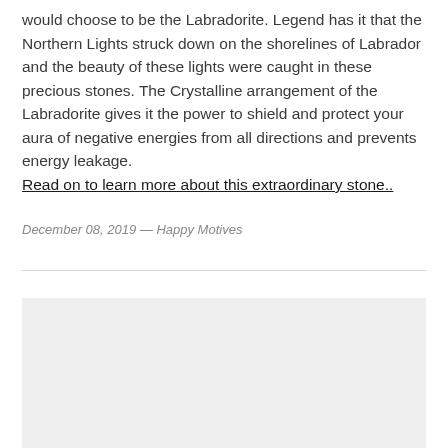would choose to be the Labradorite.  Legend has it that the Northern Lights struck down on the shorelines of Labrador and the beauty of these lights were caught in these precious stones.  The Crystalline arrangement of the Labradorite gives it the power to shield and protect your aura of negative energies from all directions and prevents energy leakage. Read on to learn more about this extraordinary stone..
December 08, 2019 — Happy Motives
[Figure (other): Light gray rectangular placeholder box at the bottom of the page]